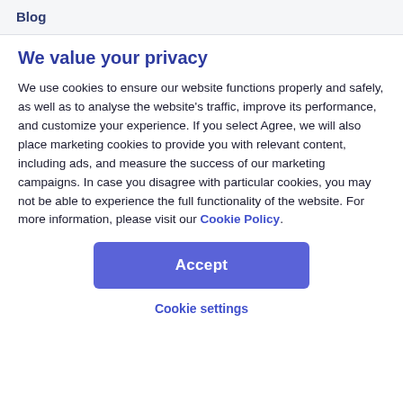Blog
We value your privacy
We use cookies to ensure our website functions properly and safely, as well as to analyse the website's traffic, improve its performance, and customize your experience. If you select Agree, we will also place marketing cookies to provide you with relevant content, including ads, and measure the success of our marketing campaigns. In case you disagree with particular cookies, you may not be able to experience the full functionality of the website. For more information, please visit our Cookie Policy.
Accept
Cookie settings